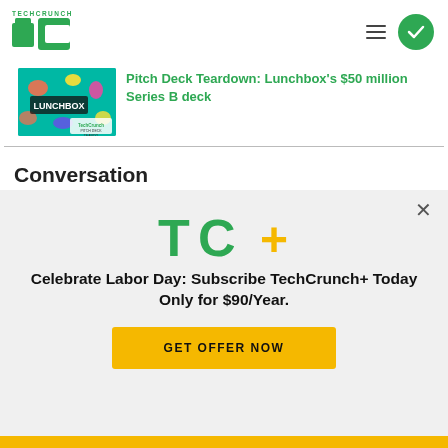TechCrunch
[Figure (screenshot): Lunchbox pitch deck teardown article thumbnail — colorful teal background with food/lunchbox graphics and 'LUNCHBOX' text, TechCrunch Pitch Deck Teardown badge]
Pitch Deck Teardown: Lunchbox's $50 million Series B deck
Conversation
Welcome to TechCrunch comments! Please keep
[Figure (logo): TC+ logo overlay with TechCrunch plus subscription offer]
Celebrate Labor Day: Subscribe TechCrunch+ Today Only for $90/Year.
GET OFFER NOW